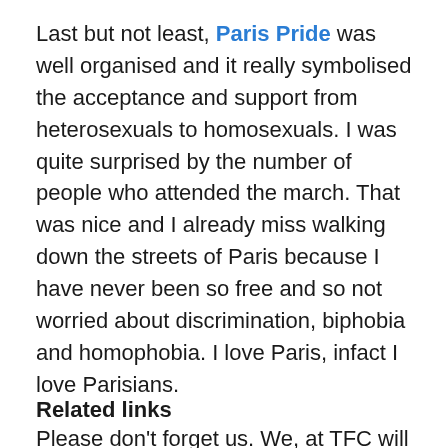Last but not least, Paris Pride was well organised and it really symbolised the acceptance and support from heterosexuals to homosexuals. I was quite surprised by the number of people who attended the march. That was nice and I already miss walking down the streets of Paris because I have never been so free and so not worried about discrimination, biphobia and homophobia. I love Paris, infact I love Parisians.
Please don't forget us. We, at TFC will never forget you. Love
Nokulunga 'Luh' Cele
Related links